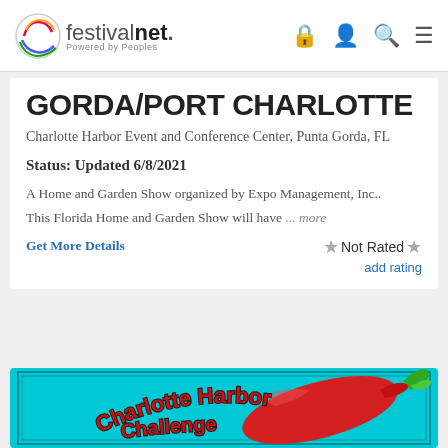festivalnet. Powered by Peoples — navigation bar with lock, person, search, menu icons
GORDA/PORT CHARLOTTE
Charlotte Harbor Event and Conference Center, Punta Gorda, FL
Status: Updated 6/8/2021
A Home and Garden Show organized by Expo Management, Inc.. This Florida Home and Garden Show will have ... more
Get More Details
Not Rated  add rating
[Figure (illustration): Charlotte Harbor Challenge event logo: teal/cyan background with red chili pepper graphic and green stem, text 'Charlotte Harbor Challenge' in red arc lettering and 'Challenge' in partially visible lower text]